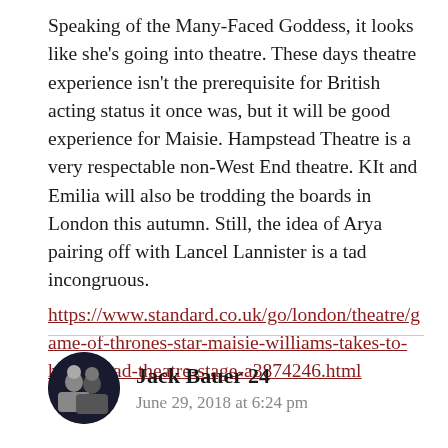Speaking of the Many-Faced Goddess, it looks like she's going into theatre. These days theatre experience isn't the prerequisite for British acting status it once was, but it will be good experience for Maisie. Hampstead Theatre is a very respectable non-West End theatre. KIt and Emilia will also be trodding the boards in London this autumn. Still, the idea of Arya pairing off with Lancel Lannister is a tad incongruous. https://www.standard.co.uk/go/london/theatre/game-of-thrones-star-maisie-williams-takes-to-hampstead-theatre-stage-a3874246.html
Jack Bauer 24
June 29, 2018 at 6:24 pm